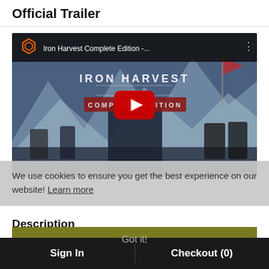Official Trailer
[Figure (screenshot): YouTube video thumbnail for 'Iron Harvest Complete Edition -...' showing game artwork with mechs and soldiers in a wintry battle scene, with a red YouTube play button in the center. The video top bar shows an orange hexagon logo and the video title.]
We use cookies to ensure you get the best experience on our website!  Learn more
Description
Got it!
Sign In
Checkout (0)